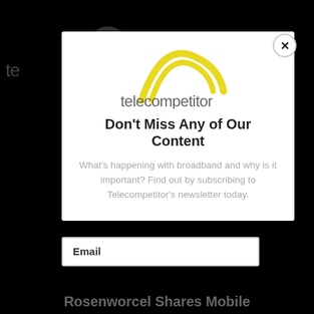[Figure (logo): Telecompetitor logo with yellow arc and grey wordmark 'telecompetitor' inside a white modal popup]
Don't Miss Any of Our Content
What's happening with broadband and why is it important? Find out by subscribing to Telecompetitor's newsletter today.
Email
Rosenworcel Shares Mobile